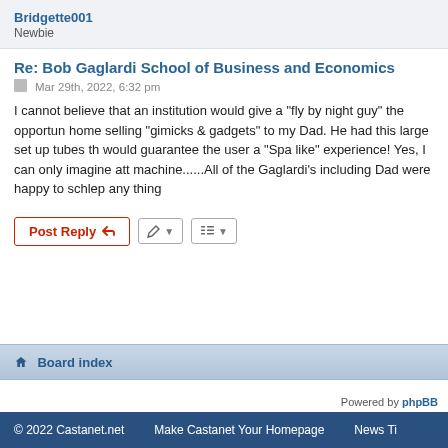Bridgette001
Newbie
Re: Bob Gaglardi School of Business and Economics
Mar 29th, 2022, 6:32 pm
I cannot believe that an institution would give a "fly by night guy" the opportunity home selling "gimicks & gadgets" to my Dad. He had this large set up tubes that would guarantee the user a "Spa like" experience! Yes, I can only imagine at machine......All of the Gaglardi's including Dad were happy to schlep any thing
Post Reply
6
Board index
Powered by phpBB
© 2022 Castanet.net    Make Castanet Your Homepage    News Ti